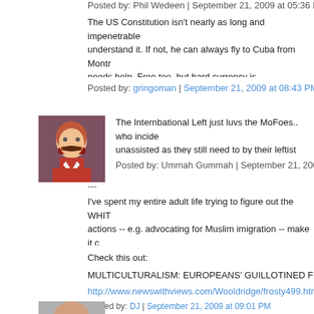Posted by: Phil Wedeen | September 21, 2009 at 05:36 P
The US Constitution isn't nearly as long and impenetrable... understand it. If not, he can always fly to Cuba from Mont... needs help. Free too, but hard currency is reccommende...
Posted by: gringoman | September 21, 2009 at 08:43 PM
[Figure (photo): Avatar image of user Ummah Gummah - stylized red and blue portrait of a man with mustache]
The Internbational Left just luvs the MoFoes.. who incide... unassisted as they still need to by their leftist useful idiots...
Posted by: Ummah Gummah | September 21, 2009 at 07:...
---
I've spent my entire adult life trying to figure out the WHIT... actions -- e.g. advocating for Muslim imigration -- make it c... genocide). If it's the later, then their motivation is rooted ...
Check this out:
MULTICULTURALISM: EUROPEANS' GUILLOTINED FROM TH
http://www.newswithviews.com/Wooldridge/frosty499.htm
Posted by: DJ | September 21, 2009 at 09:01 PM
[Figure (photo): Partial avatar image at bottom of page]
Le Kook de Kebek.. Gringoman I hope you won't mind I to...